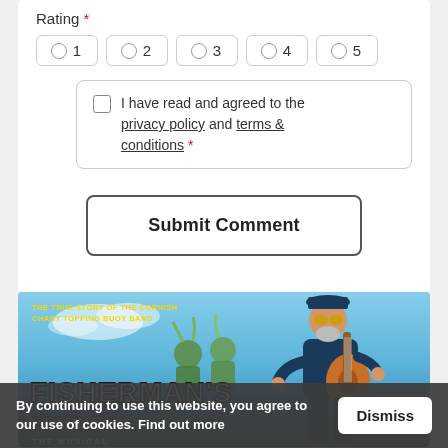Rating *
○ 1
○ 2
○ 3
○ 4
○ 5
I have read and agreed to the privacy policy and terms & conditions *
Submit Comment
[Figure (photo): Advertisement banner for 'Fisherman's Friends: The Musical' - The True Story of the Cornish Chart Topping Buoy Band. Shows a man playing guitar with fishermen figures, blue sky background.]
By continuing to use this website, you agree to our use of cookies. Find out more  Dismiss